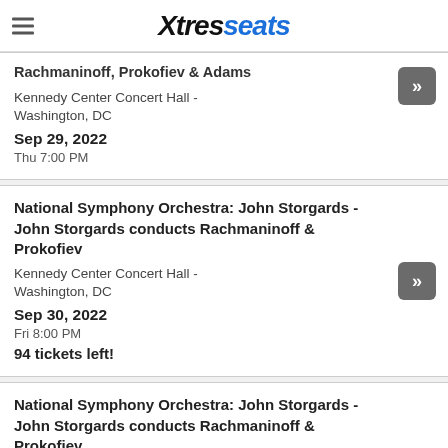XtresSeats logo with hamburger menu
Rachmaninoff, Prokofiev & Adams
Kennedy Center Concert Hall - Washington, DC
Sep 29, 2022
Thu 7:00 PM
National Symphony Orchestra: John Storgards - John Storgards conducts Rachmaninoff & Prokofiev
Kennedy Center Concert Hall - Washington, DC
Sep 30, 2022
Fri 8:00 PM
94 tickets left!
National Symphony Orchestra: John Storgards - John Storgards conducts Rachmaninoff & Prokofiev